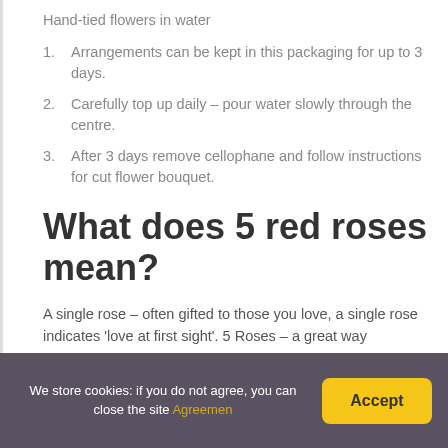Hand-tied flowers in water
Arrangements can be kept in this packaging for up to 3 days.
Carefully top up daily – pour water slowly through the centre.
After 3 days remove cellophane and follow instructions for cut flower bouquet.
What does 5 red roses mean?
A single rose – often gifted to those you love, a single rose indicates 'love at first sight'. 5 Roses – a great way
We store cookies: if you do not agree, you can close the site Agreemen